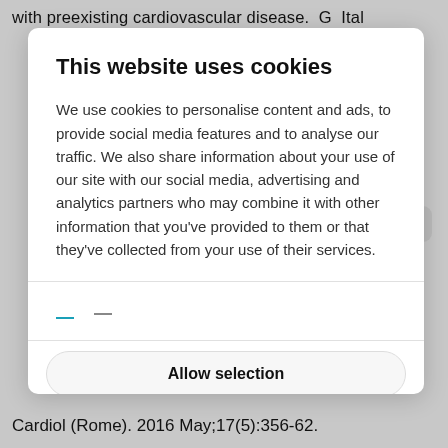with preexisting cardiovascular disease. G Ital
This website uses cookies
We use cookies to personalise content and ads, to provide social media features and to analyse our traffic. We also share information about your use of our site with our social media, advertising and analytics partners who may combine it with other information that you've provided to them or that they've collected from your use of their services.
Allow selection
Allow all cookies
More details
Cardiol (Rome). 2016 May;17(5):356-62.